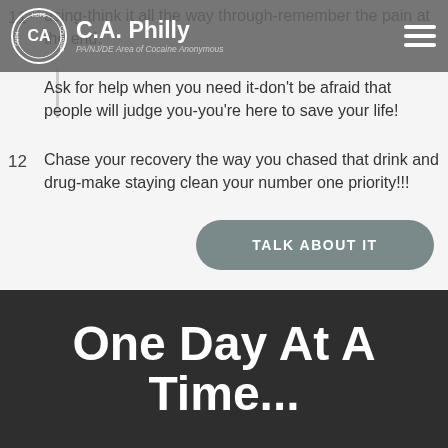C.A. Philly – PA/NJ/DE Area of Cocaine Anonymous
11. using-think it all the way through-remember the pain at the end. Ask for help when you need it-don't be afraid that people will judge you-you're here to save your life!
12. Chase your recovery the way you chased that drink and drug-make staying clean your number one priority!!!
TALK ABOUT IT
One Day At A Time...